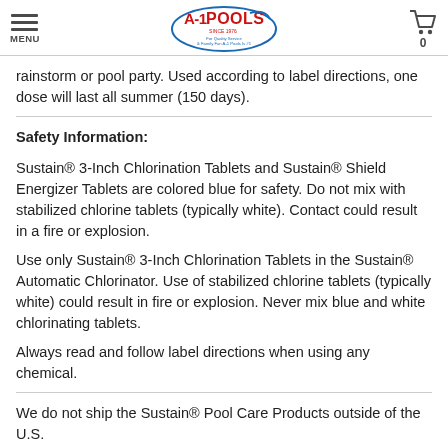MENU | A-1 Pools logo | 0 (cart)
rainstorm or pool party. Used according to label directions, one dose will last all summer (150 days).
Safety Information:
Sustain® 3-Inch Chlorination Tablets and Sustain® Shield Energizer Tablets are colored blue for safety. Do not mix with stabilized chlorine tablets (typically white). Contact could result in a fire or explosion.
Use only Sustain® 3-Inch Chlorination Tablets in the Sustain® Automatic Chlorinator. Use of stabilized chlorine tablets (typically white) could result in fire or explosion. Never mix blue and white chlorinating tablets.
Always read and follow label directions when using any chemical.
We do not ship the Sustain® Pool Care Products outside of the U.S.